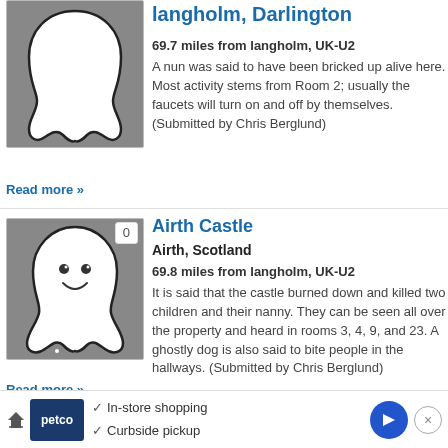[Figure (illustration): Ghost illustration on grey background (top, partial)]
langholm, Darlington
69.7 miles from langholm, UK-U2
A nun was said to have been bricked up alive here. Most activity stems from Room 2; usually the faucets will turn on and off by themselves. (Submitted by Chris Berglund)
Read more »
[Figure (illustration): Friendly ghost cartoon illustration on grey background, with badge showing 0]
Airth Castle
Airth, Scotland
69.8 miles from langholm, UK-U2
It is said that the castle burned down and killed two children and their nanny. They can be seen all over the property and heard in rooms 3, 4, 9, and 23. A ghostly dog is also said to bite people in the hallways. (Submitted by Chris Berglund)
Read more »
[Figure (infographic): Petco advertisement banner with in-store shopping and curbside pickup checkmarks]